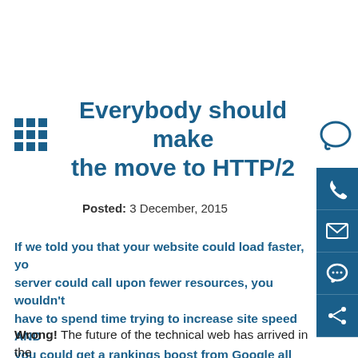Everybody should make the move to HTTP/2
Posted: 3 December, 2015
If we told you that your website could load faster, your server could call upon fewer resources, you wouldn't have to spend time trying to increase site speed AND you could get a rankings boost from Google all with one simple change, you'd probably call us opportunistic digital optimists. After all, if it sounds too good to be true, then it must be, right?
Wrong! The future of the technical web has arrived in the shape of HTTP/2, but very few seem to be on board with it just